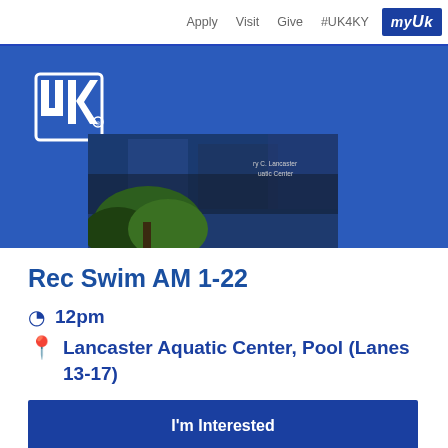Apply  Visit  Give  #UK4KY  myUK
[Figure (photo): University of Kentucky website header with UK logo on blue background and photo of Lancaster Aquatic Center building with trees]
Rec Swim AM 1-22
12pm
Lancaster Aquatic Center, Pool (Lanes 13-17)
I'm Interested